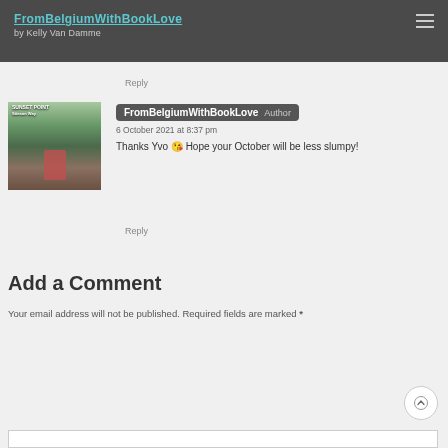FromBelgiumWithBookLove by Kelly Van Damme
Reply
FromBelgiumWithBookLove Author
6 October 2021 at 8:37 pm
Thanks Yvo 😘 Hope your October will be less slumpy!
Reply
Add a Comment
Your email address will not be published. Required fields are marked *